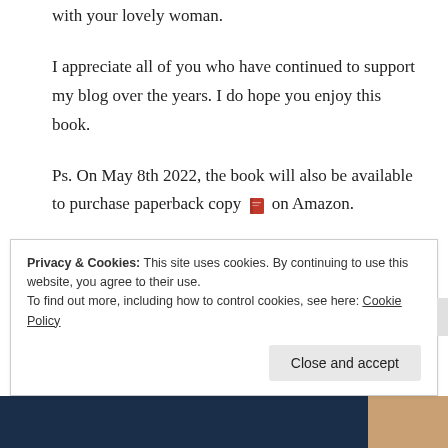with your lovely woman.
I appreciate all of you who have continued to support my blog over the years. I do hope you enjoy this book.
Ps. On May 8th 2022, the book will also be available to purchase paperback copy 📕 on Amazon.
Privacy & Cookies: This site uses cookies. By continuing to use this website, you agree to their use.
To find out more, including how to control cookies, see here: Cookie Policy
Close and accept